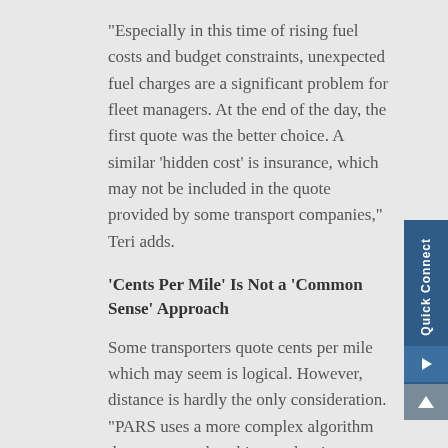“Especially in this time of rising fuel costs and budget constraints, unexpected fuel charges are a significant problem for fleet managers. At the end of the day, the first quote was the better choice. A similar ‘hidden cost’ is insurance, which may not be included in the quote provided by some transport companies,” Teri adds.
‘Cents Per Mile’ Is Not a ‘Common Sense’ Approach
Some transporters quote cents per mile which may seem is logical. However, distance is hardly the only consideration. “PARS uses a more complex algorithm that, among other things, takes into account pickup and delivery locations,” notes Teri.
“If the move is from city to a city, the cost per mile is less than a remote-to-remote delivery given the lower cost of getting drivers in and out of more